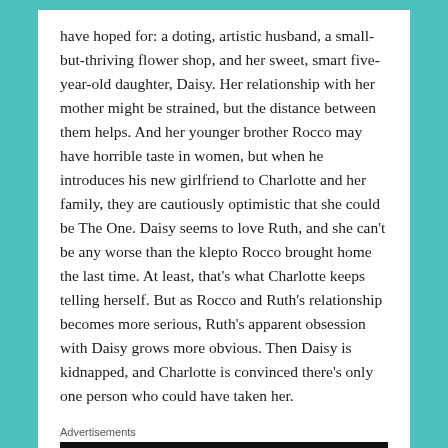have hoped for: a doting, artistic husband, a small-but-thriving flower shop, and her sweet, smart five-year-old daughter, Daisy. Her relationship with her mother might be strained, but the distance between them helps. And her younger brother Rocco may have horrible taste in women, but when he introduces his new girlfriend to Charlotte and her family, they are cautiously optimistic that she could be The One. Daisy seems to love Ruth, and she can't be any worse than the klepto Rocco brought home the last time. At least, that's what Charlotte keeps telling herself. But as Rocco and Ruth's relationship becomes more serious, Ruth's apparent obsession with Daisy grows more obvious. Then Daisy is kidnapped, and Charlotte is convinced there's only one person who could have taken her.
Advertisements